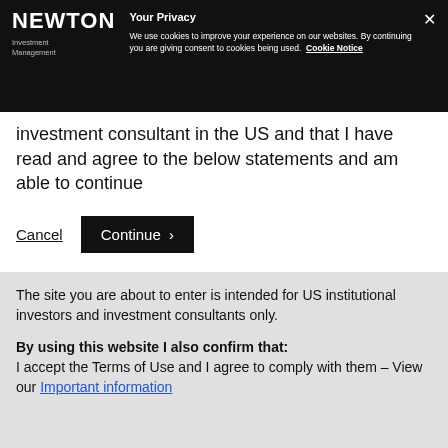NEWTON Investment Management — Your Privacy — We use cookies to improve your experience on our websites. By continuing you are giving consent to cookies being used. Cookie Notice
investment consultant in the US and that I have read and agree to the below statements and am able to continue
Cancel  Continue ›
The site you are about to enter is intended for US institutional investors and investment consultants only.
By using this website I also confirm that: I accept the Terms of Use and I agree to comply with them – View our Important information